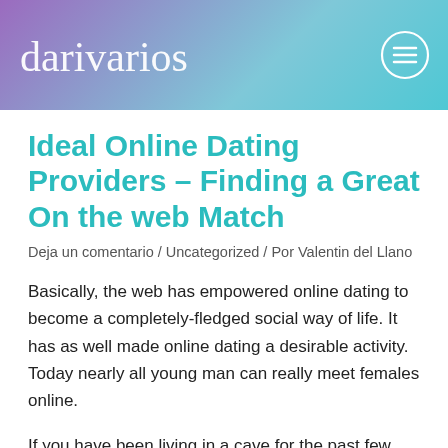darivarios
Ideal Online Dating Providers – Finding a Great On the web Match
Deja un comentario / Uncategorized / Por Valentin del Llano
Basically, the web has empowered online dating to become a completely-fledged social way of life. It has as well made online dating a desirable activity. Today nearly all young man can really meet females online.
If you have been living in a cave for the past few years, you must always be wondering how to find the right person when you are buying mate in real life. Net matchmaking depends upon meeting